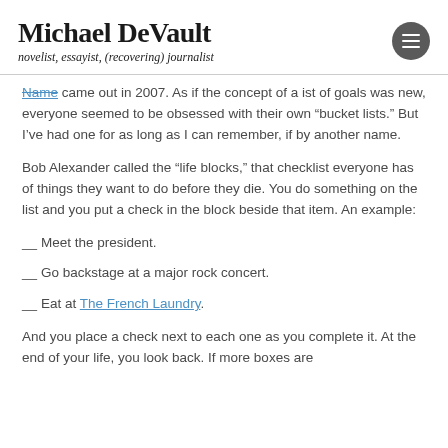Michael DeVault — novelist, essayist, (recovering) journalist
Name came out in 2007. As if the concept of a ist of goals was new, everyone seemed to be obsessed with their own “bucket lists.” But I’ve had one for as long as I can remember, if by another name.
Bob Alexander called the “life blocks,” that checklist everyone has of things they want to do before they die. You do something on the list and you put a check in the block beside that item. An example:
__ Meet the president.
__ Go backstage at a major rock concert.
__ Eat at The French Laundry.
And you place a check next to each one as you complete it. At the end of your life, you look back. If more boxes are